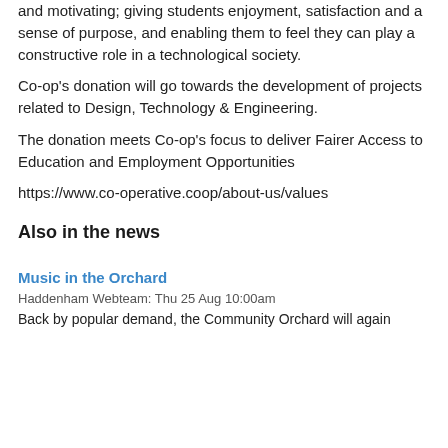and motivating; giving students enjoyment, satisfaction and a sense of purpose, and enabling them to feel they can play a constructive role in a technological society.
Co-op's donation will go towards the development of projects related to Design, Technology & Engineering.
The donation meets Co-op's focus to deliver Fairer Access to Education and Employment Opportunities
https://www.co-operative.coop/about-us/values
Also in the news
Music in the Orchard
Haddenham Webteam: Thu 25 Aug 10:00am
Back by popular demand, the Community Orchard will again